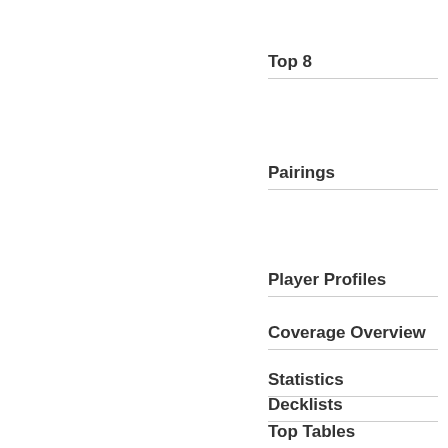Top 8
Pairings
Player Profiles
Coverage Overview
Statistics
Decklists
Top Tables